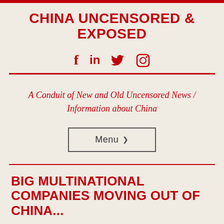CHINA UNCENSORED & EXPOSED
[Figure (other): Social media icons: Facebook, LinkedIn, Twitter, Instagram]
A Conduit of New and Old Uncensored News / Information about China
Menu ∨
BIG MULTINATIONAL COMPANIES MOVING OUT OF CHINA...
Business, Employment, Government, Human Rights, Politics